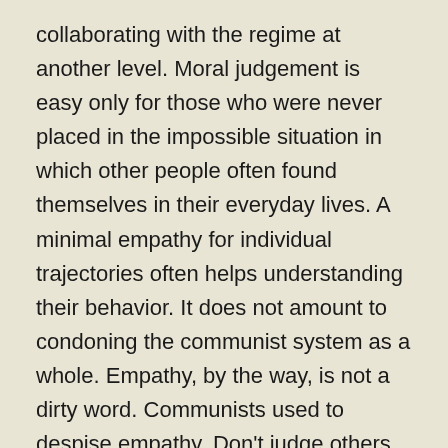collaborating with the regime at another level. Moral judgement is easy only for those who were never placed in the impossible situation in which other people often found themselves in their everyday lives. A minimal empathy for individual trajectories often helps understanding their behavior. It does not amount to condoning the communist system as a whole. Empathy, by the way, is not a dirty word. Communists used to despise empathy. Don't judge others like a communist.
4) History is a science, it is not just about telling a story. The professional study of history has disciplinary standards. If you do not know how